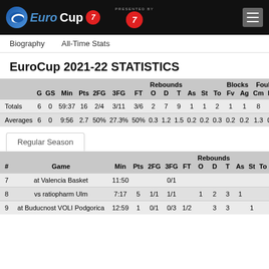EuroCup 7DAYS — PRESENTED BY 7DAYS
Biography
All-Time Stats
EuroCup 2021-22 STATISTICS
|  | G | GS | Min | Pts | 2FG | 3FG | FT | O | D | T | As | St | To | Fv | Ag | Cm | Rv | Pl |
| --- | --- | --- | --- | --- | --- | --- | --- | --- | --- | --- | --- | --- | --- | --- | --- | --- | --- | --- |
| Totals | 6 | 0 | 59:37 | 16 | 2/4 | 3/11 | 3/6 | 2 | 7 | 9 | 1 | 1 | 2 | 1 | 1 | 8 | 3 | 7 |
| Averages | 6 | 0 | 9:56 | 2.7 | 50% | 27.3% | 50% | 0.3 | 1.2 | 1.5 | 0.2 | 0.2 | 0.3 | 0.2 | 0.2 | 1.3 | 0.5 | 1. |
Regular Season
| # | Game | Min | Pts | 2FG | 3FG | FT | O | D | T | As | St | To |
| --- | --- | --- | --- | --- | --- | --- | --- | --- | --- | --- | --- | --- |
| 7 | at Valencia Basket | 11:50 |  |  | 0/1 |  |  |  |  |  |  |  |
| 8 | vs ratiopharm Ulm | 7:17 | 5 | 1/1 | 1/1 |  | 1 | 2 | 3 | 1 |  |  |
| 9 | at Buducnost VOLI Podgorica | 12:59 | 1 | 0/1 | 0/3 | 1/2 |  | 3 | 3 |  | 1 |  |